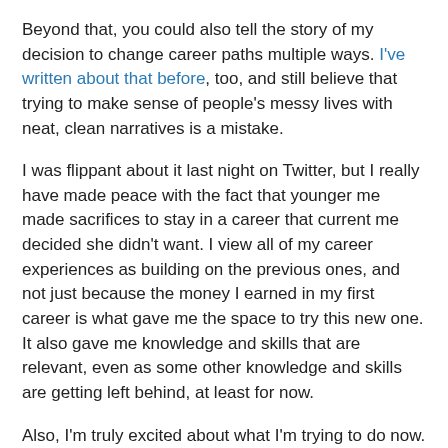Beyond that, you could also tell the story of my decision to change career paths multiple ways. I've written about that before, too, and still believe that trying to make sense of people's messy lives with neat, clean narratives is a mistake.
I was flippant about it last night on Twitter, but I really have made peace with the fact that younger me made sacrifices to stay in a career that current me decided she didn't want. I view all of my career experiences as building on the previous ones, and not just because the money I earned in my first career is what gave me the space to try this new one. It also gave me knowledge and skills that are relevant, even as some other knowledge and skills are getting left behind, at least for now.
Also, I'm truly excited about what I'm trying to do now. There are definitely problems in science and technology that are related to gender, race, disability, sexual orientation, and other factors about which people are often biased. I applaud and support the people tackling those problems.
There are also problems related to the fact that the cultures